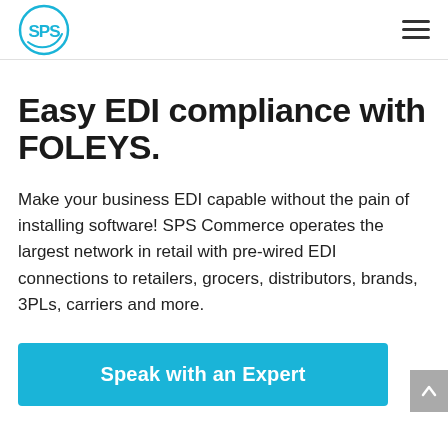SPS Commerce logo and navigation menu
Easy EDI compliance with FOLEYS.
Make your business EDI capable without the pain of installing software! SPS Commerce operates the largest network in retail with pre-wired EDI connections to retailers, grocers, distributors, brands, 3PLs, carriers and more.
Speak with an Expert